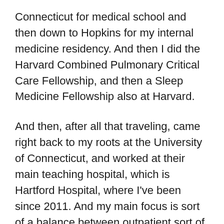Connecticut for medical school and then down to Hopkins for my internal medicine residency. And then I did the Harvard Combined Pulmonary Critical Care Fellowship, and then a Sleep Medicine Fellowship also at Harvard.
And then, after all that traveling, came right back to my roots at the University of Connecticut, and worked at their main teaching hospital, which is Hartford Hospital, where I've been since 2011. And my main focus is sort of a balance between outpatient sort of bread and butter pulmonary and sleep medicine. And then about half of the time or a little bit less, well, maybe more than half of the time these days, unfortunately, is critical care, working in a large ICU in a 900-bed hospital. We were the, right after New York